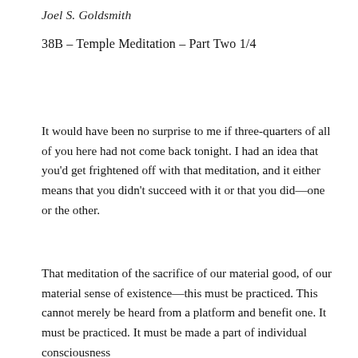Joel S. Goldsmith
38B – Temple Meditation – Part Two 1/4
It would have been no surprise to me if three-quarters of all of you here had not come back tonight. I had an idea that you'd get frightened off with that meditation, and it either means that you didn't succeed with it or that you did—one or the other.
That meditation of the sacrifice of our material good, of our material sense of existence—this must be practiced. This cannot merely be heard from a platform and benefit one. It must be practiced. It must be made a part of individual consciousness